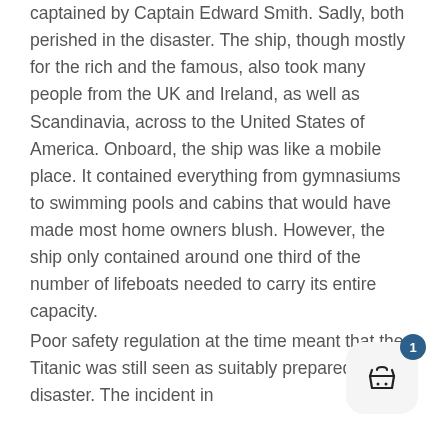captained by Captain Edward Smith. Sadly, both perished in the disaster. The ship, though mostly for the rich and the famous, also took many people from the UK and Ireland, as well as Scandinavia, across to the United States of America. Onboard, the ship was like a mobile place. It contained everything from gymnasiums to swimming pools and cabins that would have made most home owners blush. However, the ship only contained around one third of the number of lifeboats needed to carry its entire capacity.
Poor safety regulation at the time meant that the Titanic was still seen as suitably prepared for disaster. The incident in